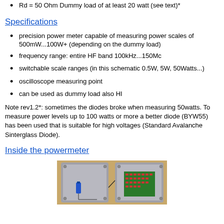Rd = 50 Ohm Dummy load of at least 20 watt (see text)*
Specifications
precision power meter capable of measuring power scales of 500mW...100W+ (depending on the dummy load)
frequency range: entire HF band 100kHz...150Mc
switchable scale ranges (in this schematic 0.5W, 5W, 50Watts...)
oscilloscope measuring point
can be used as dummy load also HI
Note rev1.2*: sometimes the diodes broke when measuring 50watts. To measure power levels up to 100 watts or more a better diode (BYW55) has been used that is suitable for high voltages (Standard Avalanche Sinterglass Diode).
Inside the powermeter
[Figure (photo): Interior photo of a powermeter device showing two open metal enclosures side by side. Left enclosure contains a blue capacitor and wiring. Right enclosure contains a green PCB with red components arranged in rows, connected by wires.]